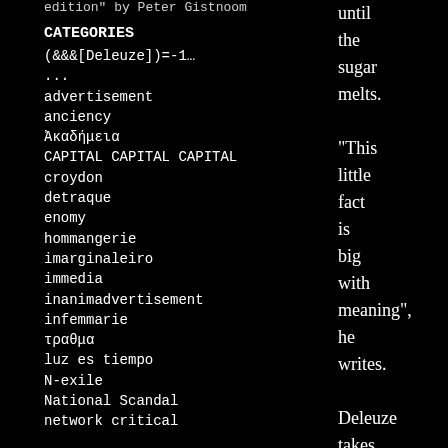edition" by Peter Gistnoom
CATEGORIES
(&&&[Deleuze])=-1…
...
advertisement
anciency
Ἀκαδήμεια
CAPITAL CAPITAL CAPITAL
croydon
detraque
enomy
hommangerie
imarginaleiro
immedia
inanimadvertisement
infemmarie
τραθμα
luz es tiempo
N-exile
National Scandal
network critical
until the sugar melts.

"This little fact is big with meaning", he writes.

Deleuze takes up the image as shorthand for its big meaning: